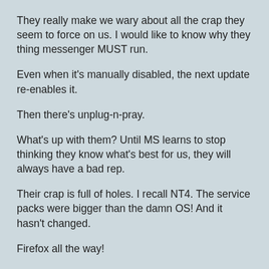They really make we wary about all the crap they seem to force on us. I would like to know why they thing messenger MUST run.
Even when it's manually disabled, the next update re-enables it.
Then there's unplug-n-pray.
What's up with them? Until MS learns to stop thinking they know what's best for us, they will always have a bad rep.
Their crap is full of holes. I recall NT4. The service packs were bigger than the damn OS! And it hasn't changed.
Firefox all the way!
Reply